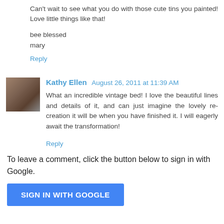Can't wait to see what you do with those cute tins you painted! Love little things like that!
bee blessed
mary
Reply
Kathy Ellen  August 26, 2011 at 11:39 AM
What an incredible vintage bed! I love the beautiful lines and details of it, and can just imagine the lovely re-creation it will be when you have finished it. I will eagerly await the transformation!
Reply
To leave a comment, click the button below to sign in with Google.
SIGN IN WITH GOOGLE